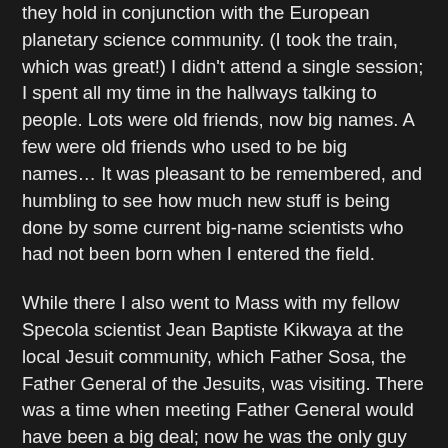they hold in conjunction with the European planetary science community. (I took the train, which was great!) I didn't attend a single session; I spent all my time in the hallways talking to people. Lots were old friends, now big names. A few were old friends who used to be big names… It was pleasant to be remembered, and humbling to see how much new stuff is being done by some current big-name scientists who had not been born when I entered the field.
While there I also went to Mass with my fellow Specola scientist Jean Baptiste Kikwaya at the local Jesuit community, which Father Sosa, the Father General of the Jesuits, was visiting. There was a time when meeting Father General would have been a big deal; now he was the only guy at the Mass (besides JB) whom I felt comfortable enough to joke with. (Fr Sosa's previous job had been running the Roman